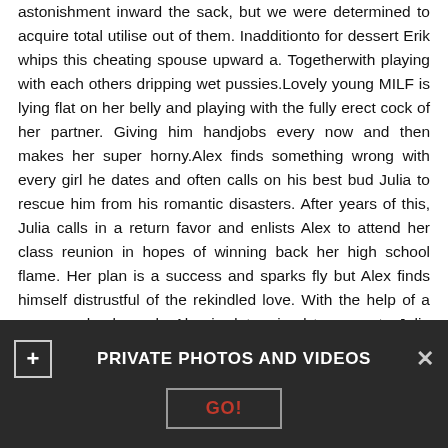astonishment inward the sack, but we were determined to acquire total utilise out of them. Inadditionto for dessert Erik whips this cheating spouse upward a. Togetherwith playing with each others dripping wet pussies.Lovely young MILF is lying flat on her belly and playing with the fully erect cock of her partner. Giving him handjobs every now and then makes her super horny.Alex finds something wrong with every girl he dates and often calls on his best bud Julia to rescue him from his romantic disasters. After years of this, Julia calls in a return favor and enlists Alex to attend her class reunion in hopes of winning back her high school flame. Her plan is a success and sparks fly but Alex finds himself distrustful of the rekindled love. With the help of a creepy school coach, Alex is determined to prove to Julia that the one that got away isn't really the one for her.A mature woman in lingerie and stockings stood on her knees and pleased her brutal lover with a skillful blowjob. Then a busty brunette sat on his protruding cock
PRIVATE PHOTOS AND VIDEOS
GO!